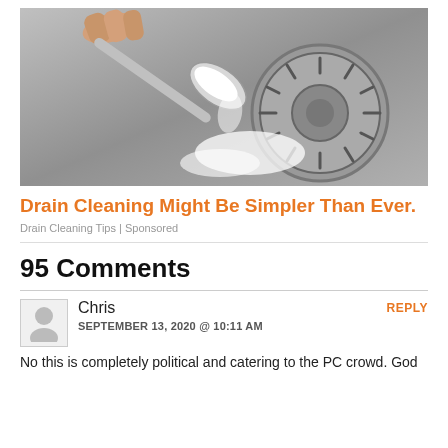[Figure (photo): A hand holding a spoon pouring white powder (baking soda) onto a stainless steel sink drain]
Drain Cleaning Might Be Simpler Than Ever.
Drain Cleaning Tips | Sponsored
95 Comments
Chris
SEPTEMBER 13, 2020 @ 10:11 AM
No this is completely political and catering to the PC crowd. God